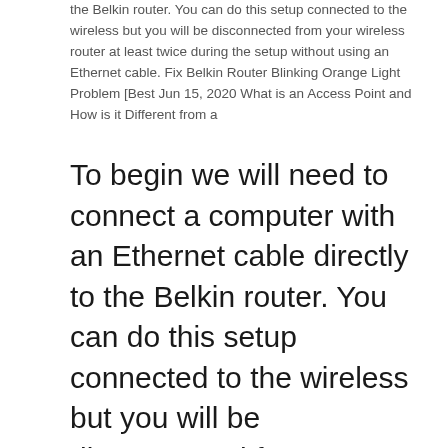the Belkin router. You can do this setup connected to the wireless but you will be disconnected from your wireless router at least twice during the setup without using an Ethernet cable. Fix Belkin Router Blinking Orange Light Problem [Best Jun 15, 2020 What is an Access Point and How is it Different from a
To begin we will need to connect a computer with an Ethernet cable directly to the Belkin router. You can do this setup connected to the wireless but you will be disconnected from your wireless router at least twice during the setup without using an Ethernet cable.